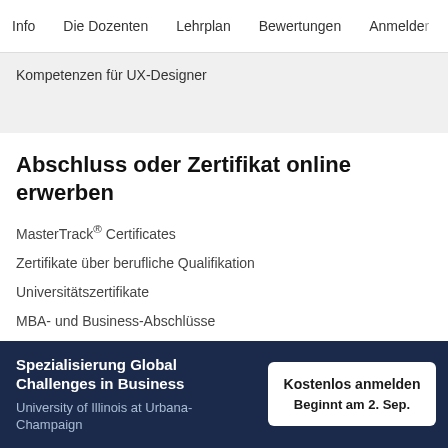Info   Die Dozenten   Lehrplan   Bewertungen   Anmelden
Kompetenzen für UX-Designer
Abschluss oder Zertifikat online erwerben
MasterTrack® Certificates
Zertifikate über berufliche Qualifikation
Universitätszertifikate
MBA- und Business-Abschlüsse
Abschlüsse in Berufsein…
Spezialisierung Global Challenges in Business
University of Illinois at Urbana-Champaign
Kostenlos anmelden
Beginnt am 2. Sep.